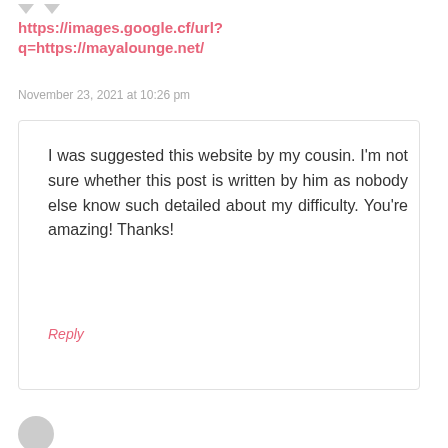https://images.google.cf/url?q=https://mayalounge.net/
November 23, 2021 at 10:26 pm
I was suggested this website by my cousin. I'm not sure whether this post is written by him as nobody else know such detailed about my difficulty. You're amazing! Thanks!
Reply